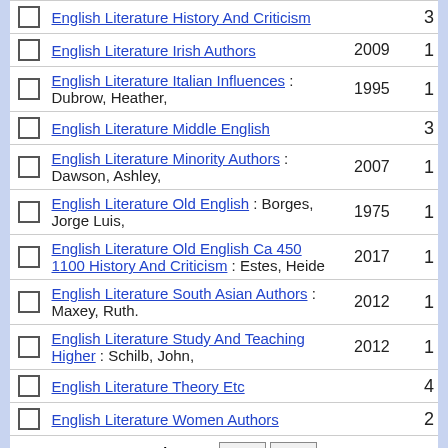English Literature History And Criticism — count: 3
English Literature Irish Authors — 2009 — 1
English Literature Italian Influences : Dubrow, Heather, — 1995 — 1
English Literature Middle English — count: 3
English Literature Minority Authors : Dawson, Ashley, — 2007 — 1
English Literature Old English : Borges, Jorge Luis, — 1975 — 1
English Literature Old English Ca 450 1100 History And Criticism : Estes, Heide — 2017 — 1
English Literature South Asian Authors : Maxey, Ruth. — 2012 — 1
English Literature Study And Teaching Higher : Schilb, John, — 2012 — 1
English Literature Theory Etc — count: 4
English Literature Women Authors — count: 2
Result Page  Prev  Next